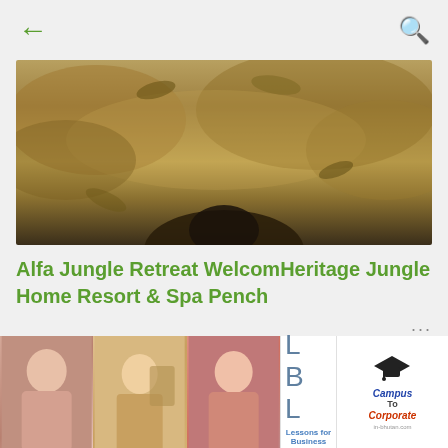[Figure (screenshot): Mobile app screenshot showing back arrow and search icon on top bar, hero photo of jungle/nature scene, article title in green, URL list in italic, and bottom thumbnails]
Alfa Jungle Retreat WelcomHeritage Jungle Home Resort & Spa Pench
http://vivastreet.co.in/  http://www.clickindia.com/cimem/post_ad.php  http://click.in/classifieds/ost.html  http://www.classifiedads.com  https://www.global-free-classified-ads.com  https://www.reddit.com/  ...
[Figure (photo): Three thumbnail photos of women at bottom left]
[Figure (logo): LBL - Lessons for Business Leaders logo]
[Figure (logo): Campus To Corporate logo with mortarboard icon]